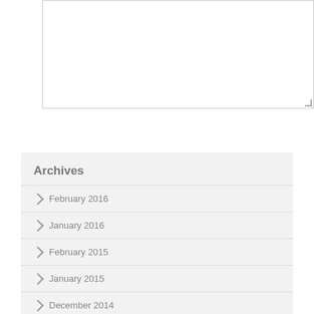[Figure (screenshot): Empty textarea input box with resize handle in bottom-right corner]
Post Comment
Archives
February 2016
January 2016
February 2015
January 2015
December 2014
August 2014